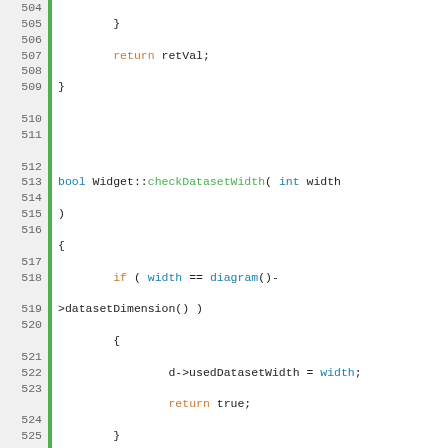[Figure (screenshot): Source code screenshot showing C++ code for Widget class methods checkDatasetWidth and justifyModelSize, with syntax highlighting in orange, blue, green, and red, line numbers 504-529 visible on left side with green bar separator.]